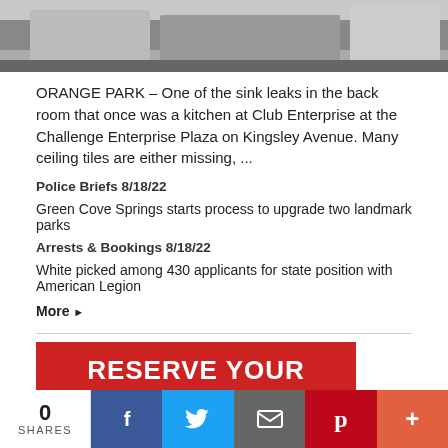[Figure (photo): Partial photo of a kitchen/back room area, cropped at top, showing counters and cabinets in grayscale]
ORANGE PARK – One of the sink leaks in the back room that once was a kitchen at Club Enterprise at the Challenge Enterprise Plaza on Kingsley Avenue. Many ceiling tiles are either missing, ...
Police Briefs 8/18/22
Green Cove Springs starts process to upgrade two landmark parks
Arrests & Bookings 8/18/22
White picked among 430 applicants for state position with American Legion
More ▶
[Figure (infographic): Red advertisement banner reading RESERVE YOUR ADVERTISEMENT SPOT TODAY in bold white uppercase text]
0 SHARES | Facebook | Twitter | Email | Pinterest | More